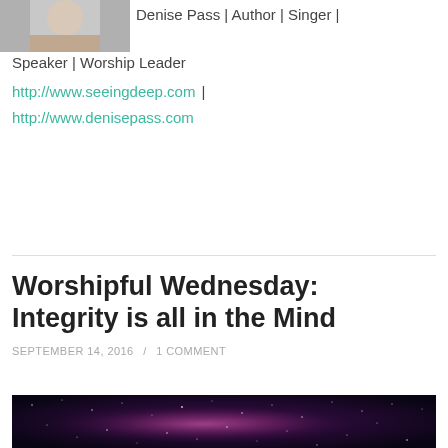[Figure (photo): Partial profile photo of a person, cropped at top]
Denise Pass | Author | Singer | Speaker | Worship Leader
http://www.seeingdeep.com | http://www.denisepass.com
Worshipful Wednesday: Integrity is all in the Mind
SEPTEMBER 14, 2016 / 1 COMMENT
[Figure (photo): Night sky with stars and purple/pink nebula, milky way galaxy visible]